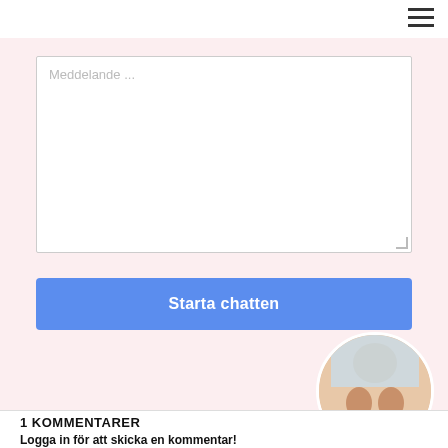Meddelande ...
Starta chatten
[Figure (photo): Circular avatar photo of a woman's torso with a light blue cloth/garment partially covering the upper body]
1 KOMMENTARER
Logga in för att skicka en kommentar!